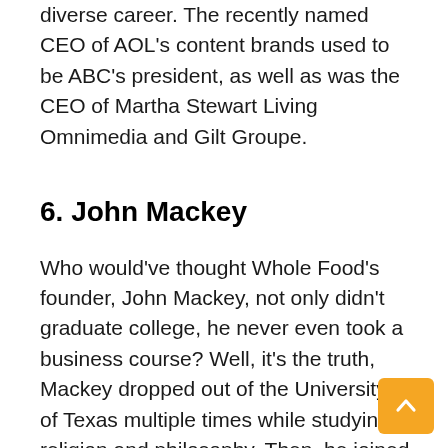diverse career. The recently named CEO of AOL's content brands used to be ABC's president, as well as was the CEO of Martha Stewart Living Omnimedia and Gilt Groupe.
6. John Mackey
Who would've thought Whole Food's founder, John Mackey, not only didn't graduate college, he never even took a business course? Well, it's the truth, Mackey dropped out of the University of Texas multiple times while studying religion and philosophy. Then, he joined a vegan